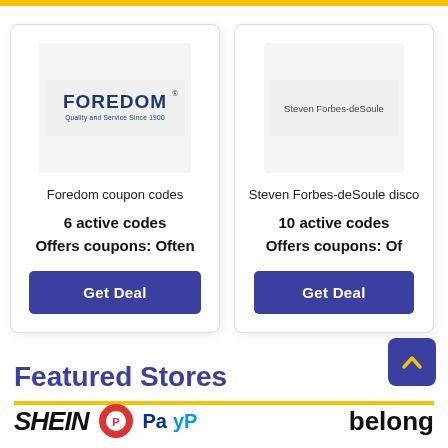[Figure (screenshot): Yellow top navigation bar strip]
[Figure (logo): Foredom logo card showing 'FOREDOM Quality and Service Since 1900' brand logo in blue/navy text on light gray background]
Foredom coupon codes
6 active codes
Offers coupons: Often
Get Deal
[Figure (logo): Steven Forbes-deSoule text logo on light gray background]
Steven Forbes-deSoule disco
10 active codes
Offers coupons: Of
Get Deal
Featured Stores
[Figure (screenshot): Back to top arrow button, purple rounded square with upward chevron]
[Figure (logo): SHEIN logo and PayPal logo partial, bottom of page]
belong